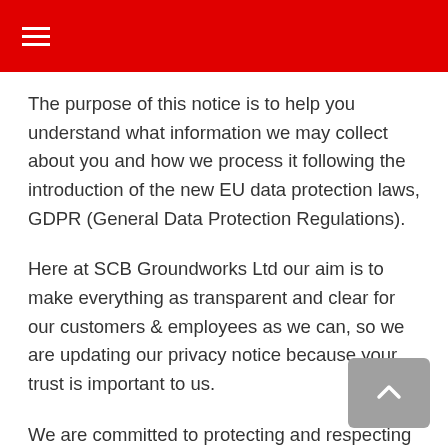≡
The purpose of this notice is to help you understand what information we may collect about you and how we process it following the introduction of the new EU data protection laws, GDPR (General Data Protection Regulations).
Here at SCB Groundworks Ltd our aim is to make everything as transparent and clear for our customers & employees as we can, so we are updating our privacy notice because your trust is important to us.
We are committed to protecting and respecting your privacy and will comply with the applicable data